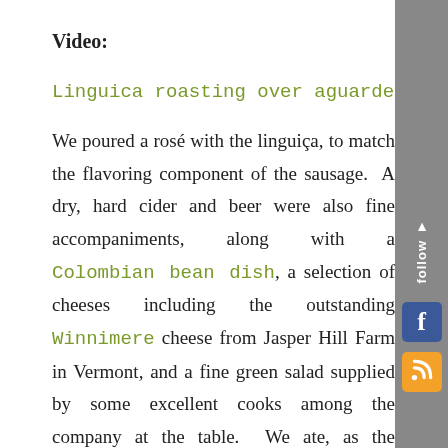Video:
Linguica roasting over aguardente
We poured a rosé with the linguiça, to match the flavoring component of the sausage. A dry, hard cider and beer were also fine accompaniments, along with a Colombian bean dish, a selection of cheeses including the outstanding Winnimere cheese from Jasper Hill Farm in Vermont, and a fine green salad supplied by some excellent cooks among the company at the table. We ate, as the Hawaiians say, until we were tired.